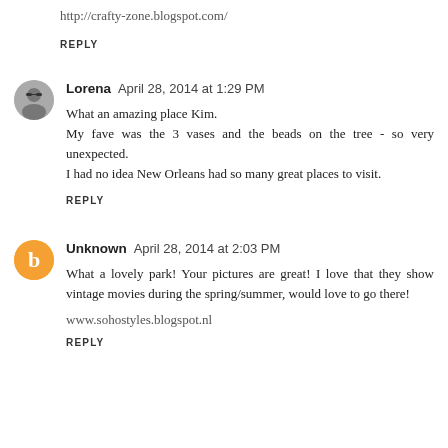http://crafty-zone.blogspot.com/
REPLY
Lorena  April 28, 2014 at 1:29 PM
What an amazing place Kim.
My fave was the 3 vases and the beads on the tree - so very unexpected.
I had no idea New Orleans had so many great places to visit.
REPLY
Unknown  April 28, 2014 at 2:03 PM
What a lovely park! Your pictures are great! I love that they show vintage movies during the spring/summer, would love to go there!
www.sohostyles.blogspot.nl
REPLY